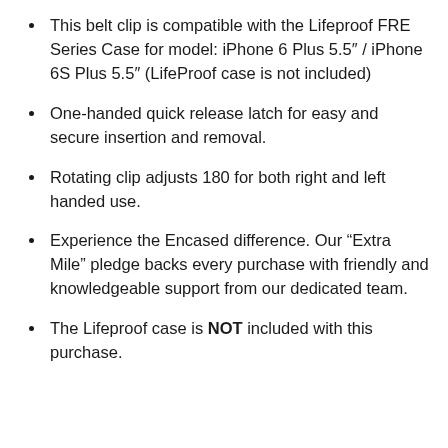This belt clip is compatible with the Lifeproof FRE Series Case for model: iPhone 6 Plus 5.5" / iPhone 6S Plus 5.5" (LifeProof case is not included)
One-handed quick release latch for easy and secure insertion and removal.
Rotating clip adjusts 180 for both right and left handed use.
Experience the Encased difference. Our “Extra Mile” pledge backs every purchase with friendly and knowledgeable support from our dedicated team.
The Lifeproof case is NOT included with this purchase.